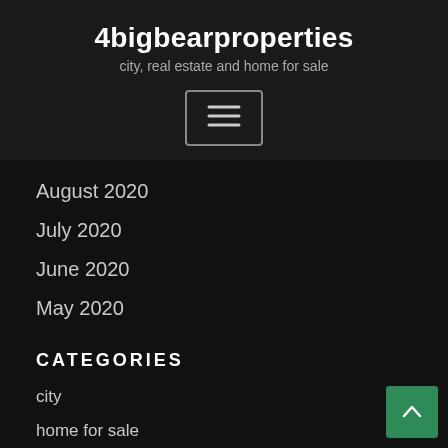4bigbearproperties
city, real estate and home for sale
[Figure (other): Hamburger menu button icon with three horizontal lines inside a rounded rectangle border]
August 2020
July 2020
June 2020
May 2020
CATEGORIES
city
home for sale